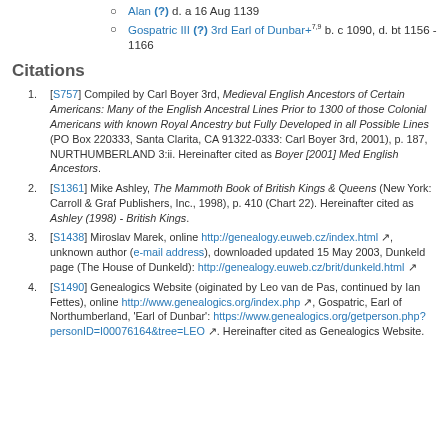Alan (?) d. a 16 Aug 1139
Gospatric III (?) 3rd Earl of Dunbar+7,9 b. c 1090, d. bt 1156 - 1166
Citations
[S757] Compiled by Carl Boyer 3rd, Medieval English Ancestors of Certain Americans: Many of the English Ancestral Lines Prior to 1300 of those Colonial Americans with known Royal Ancestry but Fully Developed in all Possible Lines (PO Box 220333, Santa Clarita, CA 91322-0333: Carl Boyer 3rd, 2001), p. 187, NURTHUMBERLAND 3:ii. Hereinafter cited as Boyer [2001] Med English Ancestors.
[S1361] Mike Ashley, The Mammoth Book of British Kings & Queens (New York: Carroll & Graf Publishers, Inc., 1998), p. 410 (Chart 22). Hereinafter cited as Ashley (1998) - British Kings.
[S1438] Miroslav Marek, online http://genealogy.euweb.cz/index.html, unknown author (e-mail address), downloaded updated 15 May 2003, Dunkeld page (The House of Dunkeld): http://genealogy.euweb.cz/brit/dunkeld.html
[S1490] Genealogics Website (oiginated by Leo van de Pas, continued by Ian Fettes), online http://www.genealogics.org/index.php, Gospatric, Earl of Northumberland, 'Earl of Dunbar': https://www.genealogics.org/getperson.php?personID=I00076164&tree=LEO. Hereinafter cited as Genealogics Website.